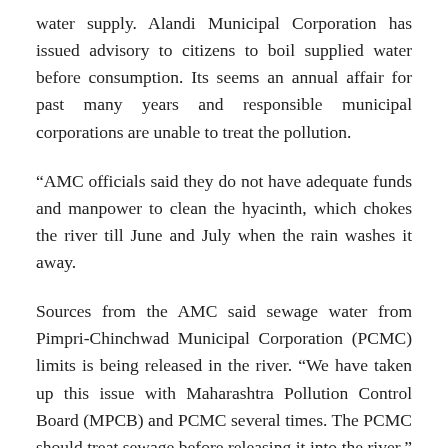water supply. Alandi Municipal Corporation has issued advisory to citizens to boil supplied water before consumption. Its seems an annual affair for past many years and responsible municipal corporations are unable to treat the pollution.
“AMC officials said they do not have adequate funds and manpower to clean the hyacinth, which chokes the river till June and July when the rain washes it away.
Sources from the AMC said sewage water from Pimpri-Chinchwad Municipal Corporation (PCMC) limits is being released in the river. “We have taken up this issue with Maharashtra Pollution Control Board (MPCB) and PCMC several times. The PCMC should treat sewage before releasing it into the river,” an AMC official said.
“The AMC has set up its water treatment plan but it does